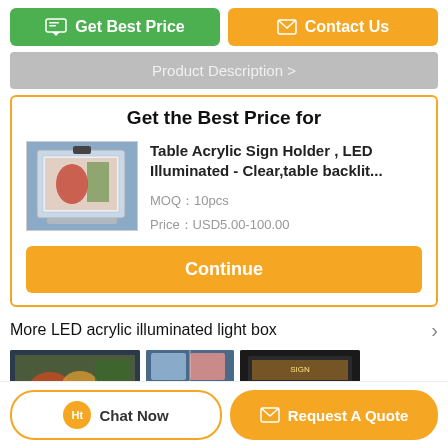[Figure (screenshot): Green 'Get Best Price' button and orange 'Contact Us' button at the top of the page]
Product Description >
Get the Best Price for
[Figure (photo): Table Acrylic Sign Holder with LED illumination product photo]
Table Acrylic Sign Holder , LED Illuminated - Clear,table backlit...
MOQ：10pcs
Price：USD5.00-100.00
Continue
More  LED acrylic illuminated light box
[Figure (photo): Three product thumbnail photos of LED light boxes]
Chat Now
Request A Quote